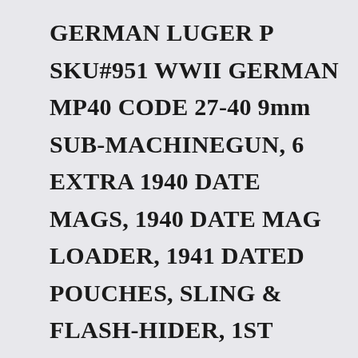GERMAN LUGER P SKU#951 WWII GERMAN MP40 CODE 27-40 9mm SUB-MACHINEGUN, 6 EXTRA 1940 DATE MAGS, 1940 DATE MAG LOADER, 1941 DATED POUCHES, SLING & FLASH-HIDER, 1ST YEAR 1940 PRODUCTION, UNDERFOLD STOCK, PURCHASED FROM VET & HAVE HIS SERVICE RECORD ALONG WITH HIS AMNESTY REGISTRATION, I AM THE SECOND